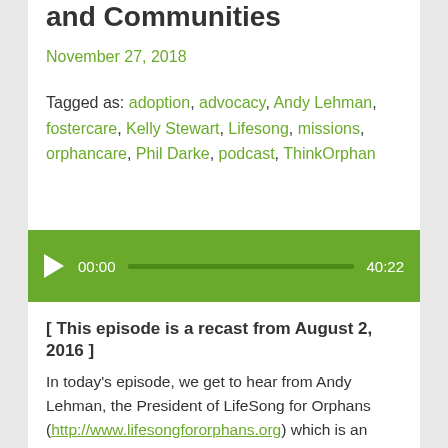and Communities
November 27, 2018
Tagged as: adoption, advocacy, Andy Lehman, fostercare, Kelly Stewart, Lifesong, missions, orphancare, Phil Darke, podcast, ThinkOrphan
[Figure (other): Audio player widget with green background, play button, timestamp 00:00, progress bar, and duration 40:22]
[ This episode is a recast from August 2, 2016 ]
In today's episode, we get to hear from Andy Lehman, the President of LifeSong for Orphans (http://www.lifesongfororphans.org) which is an organization that helps mobilize the church to care for orphaned and vulnerable children.
Continue reading